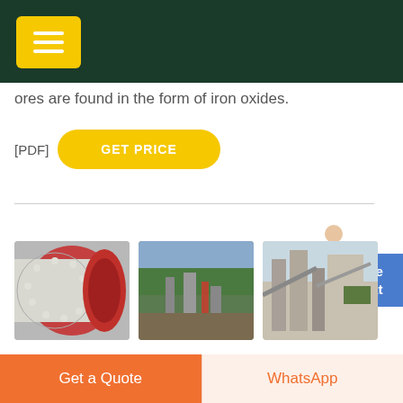[navigation header bar with menu icon]
ores are found in the form of iron oxides.
[PDF] GET PRICE
[Figure (photo): Three industrial images: a ball mill with circular dot pattern, an aerial view of an industrial mining site, and a rock crusher plant facility]
Iron Extraction Process - Dillinger
Get a Quote | WhatsApp